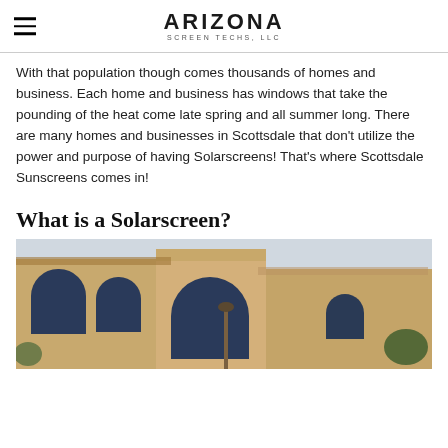Arizona Screen Techs, LLC
With that population though comes thousands of homes and business. Each home and business has windows that take the pounding of the heat come late spring and all summer long. There are many homes and businesses in Scottsdale that don't utilize the power and purpose of having Solarscreens! That's where Scottsdale Sunscreens comes in!
What is a Solarscreen?
[Figure (photo): Exterior photo of a Scottsdale-style stucco building with arched windows fitted with dark solar screens]